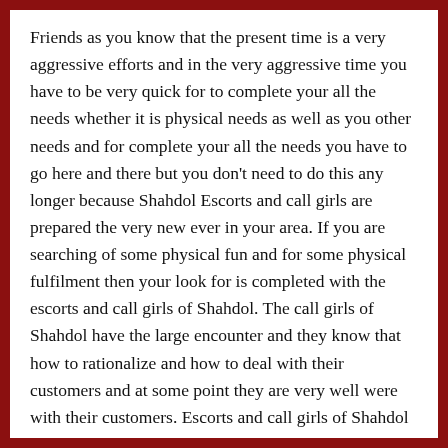Friends as you know that the present time is a very aggressive efforts and in the very aggressive time you have to be very quick for to complete your all the needs whether it is physical needs as well as you other needs and for complete your all the needs you have to go here and there but you don't need to do this any longer because Shahdol Escorts and call girls are prepared the very new ever in your area. If you are searching of some physical fun and for some physical fulfilment then your look for is completed with the escorts and call girls of Shahdol. The call girls of Shahdol have the large encounter and they know that how to rationalize and how to deal with their customers and at some point they are very well were with their customers. Escorts and call girls of Shahdol have the excellent encounter of interaction and they know that how to persuade any client by their talk and by their overall look. So why are you patiently